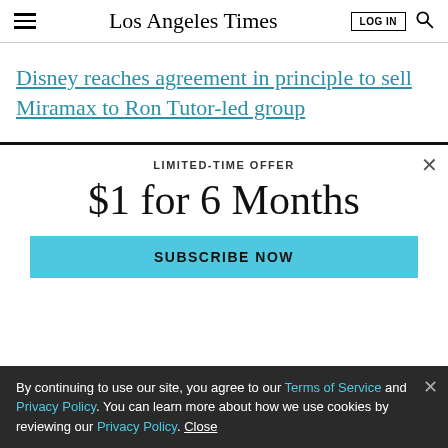Los Angeles Times
Disney reaches agreement in principle to sell Miramax to Ron Tutor-led group
LIMITED-TIME OFFER
$1 for 6 Months
SUBSCRIBE NOW
By continuing to use our site, you agree to our Terms of Service and Privacy Policy. You can learn more about how we use cookies by reviewing our Privacy Policy. Close